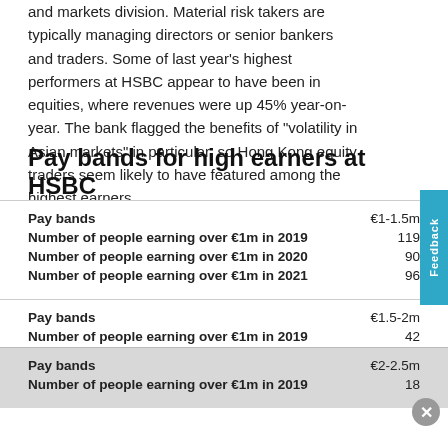and markets division. Material risk takers are typically managing directors or senior bankers and traders. Some of last year's highest performers at HSBC appear to have been in equities, where revenues were up 45% year-on-year. The bank flagged the benefits of "volatility in Asian markets" in particular, so Hong Kong equity traders seem likely to have featured among the highest earners.
Pay bands for high earners at HSBC
| Pay bands | €1-1.5m |
| --- | --- |
| Number of people earning over €1m in 2019 | 119 |
| Number of people earning over €1m in 2020 | 90 |
| Number of people earning over €1m in 2021 | 96 |
| Pay bands | €1.5-2m |
| --- | --- |
| Number of people earning over €1m in 2019 | 42 |
| Number of people earning over €1m in 2020 | 21 |
| Number of people earning over €1m in 2021 | 40 |
| Pay bands | €2-2.5m |
| --- | --- |
| Number of people earning over €1m in 2019 | 18 |